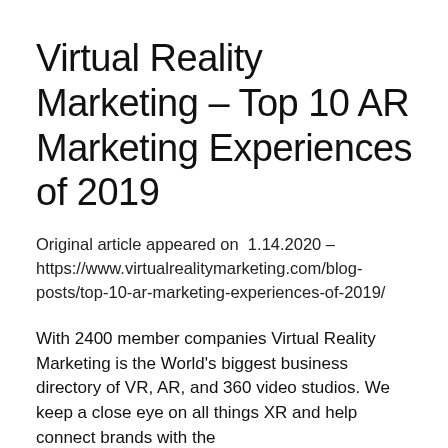Virtual Reality Marketing – Top 10 AR Marketing Experiences of 2019
Original article appeared on  1.14.2020 – https://www.virtualrealitymarketing.com/blog-posts/top-10-ar-marketing-experiences-of-2019/
With 2400 member companies Virtual Reality Marketing is the World's biggest business directory of VR, AR, and 360 video studios. We keep a close eye on all things XR and help connect brands with the